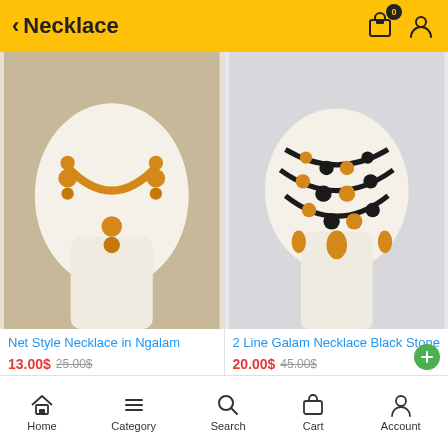Necklace
[Figure (photo): Gold net style necklace set with matching earrings on a white display bust, with textured background]
Net Style Necklace in Ngalam
13.00$ 25.00$
[Figure (photo): 2-line black and gold beaded necklace (Galam style) with matching earrings on a white display bust]
2 Line Galam Necklace Black Stone
20.00$ 45.00$
Home  Category  Search  Cart  Account